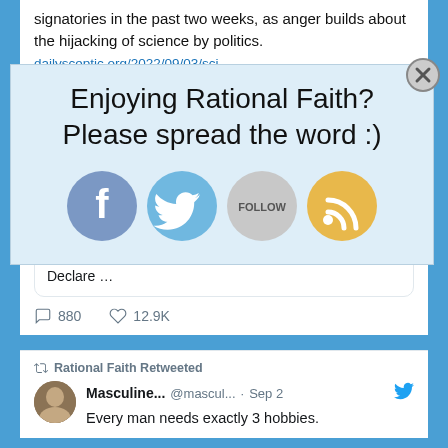signatories in the past two weeks, as anger builds about the hijacking of science by politics.
dailysceptic.org/2022/09/03/sci...
Enjoying Rational Faith? Please spread the word :)
[Figure (illustration): Social media sharing icons: Facebook (blue), Twitter (blue), Follow button (gray), RSS feed (orange)]
dailysceptic.org
Scientists Flock to Sign World Climate Declaration and Declare …
880  12.9K
Rational Faith Retweeted
Masculine... @mascul... · Sep 2
Every man needs exactly 3 hobbies.